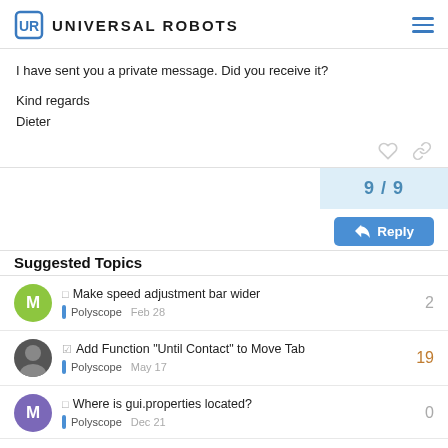UNIVERSAL ROBOTS
I have sent you a private message. Did you receive it?

Kind regards
Dieter
9 / 9
Reply
Suggested Topics
Make speed adjustment bar wider | Polyscope | 2 | Feb 28
Add Function "Until Contact" to Move Tab | Polyscope | 19 | May 17
Where is gui.properties located? | Polyscope | 0 | Dec 21